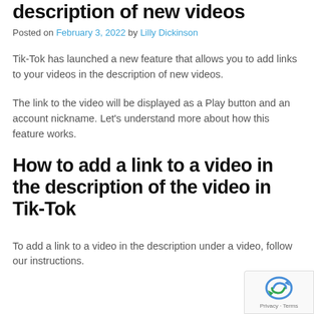description of new videos
Posted on February 3, 2022 by Lilly Dickinson
Tik-Tok has launched a new feature that allows you to add links to your videos in the description of new videos.
The link to the video will be displayed as a Play button and an account nickname. Let's understand more about how this feature works.
How to add a link to a video in the description of the video in Tik-Tok
To add a link to a video in the description under a video, follow our instructions.